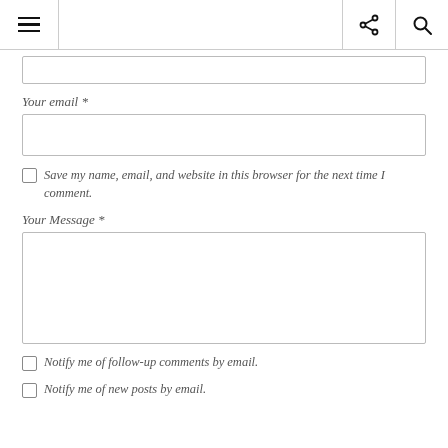Navigation header with hamburger menu, share icon, and search icon
Your email *
Save my name, email, and website in this browser for the next time I comment.
Your Message *
Notify me of follow-up comments by email.
Notify me of new posts by email.